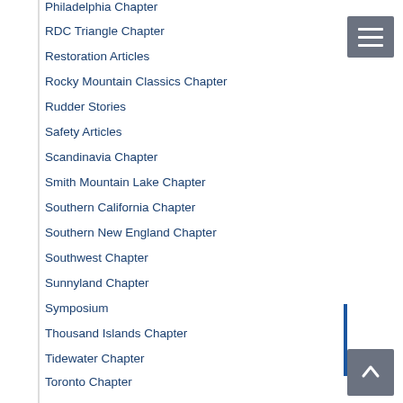Philadelphia Chapter
RDC Triangle Chapter
Restoration Articles
Rocky Mountain Classics Chapter
Rudder Stories
Safety Articles
Scandinavia Chapter
Smith Mountain Lake Chapter
Southern California Chapter
Southern New England Chapter
Southwest Chapter
Sunnyland Chapter
Symposium
Thousand Islands Chapter
Tidewater Chapter
Toronto Chapter